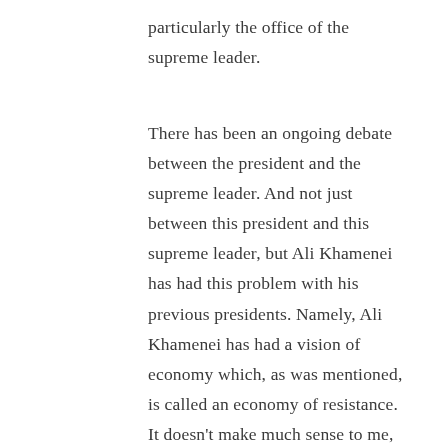particularly the office of the supreme leader.
There has been an ongoing debate between the president and the supreme leader. And not just between this president and this supreme leader, but Ali Khamenei has had this problem with his previous presidents. Namely, Ali Khamenei has had a vision of economy which, as was mentioned, is called an economy of resistance. It doesn't make much sense to me, but essentially it's one that suggests that Iran should rely on local markets, its own internal markets, and the